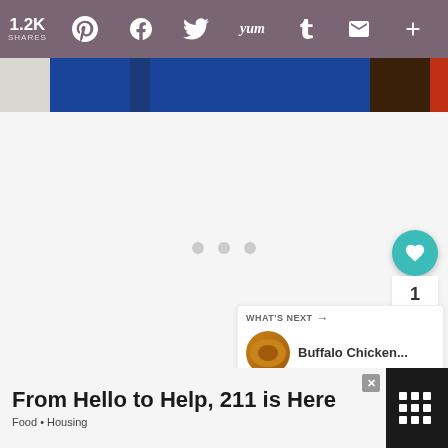[Figure (screenshot): Social sharing toolbar with teal/purple background showing 1.2K shares count and icons for Pinterest, Facebook, Twitter, Yummly, Tumblr, email, and more]
[Figure (photo): Partial hero image strip showing blue and dark tones, appears to be a food photograph cut off at top]
[Figure (screenshot): White content area with loading indicator dots (three gray circles) and floating action buttons: teal heart button, count showing 1, and share button]
WHAT'S NEXT →
Buffalo Chicken...
From Hello to Help, 211 is Here
Food • Housing